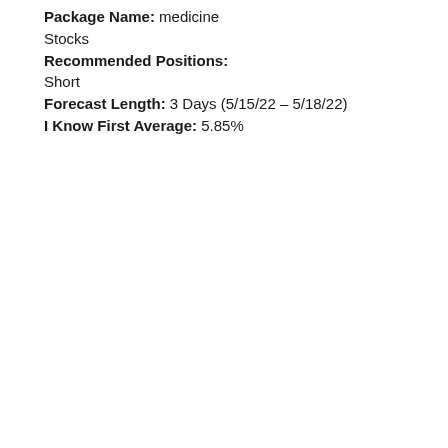Package Name: medicine
Stocks
Recommended Positions:
Short
Forecast Length: 3 Days (5/15/22 – 5/18/22)
I Know First Average: 5.85%